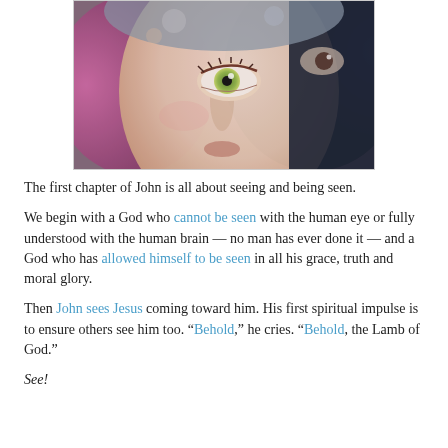[Figure (photo): Close-up photograph of a child's face, focusing on a striking green eye, with soft blurred features and bokeh background.]
The first chapter of John is all about seeing and being seen.
We begin with a God who cannot be seen with the human eye or fully understood with the human brain — no man has ever done it — and a God who has allowed himself to be seen in all his grace, truth and moral glory.
Then John sees Jesus coming toward him. His first spiritual impulse is to ensure others see him too. “Behold,” he cries. “Behold, the Lamb of God.”
See!